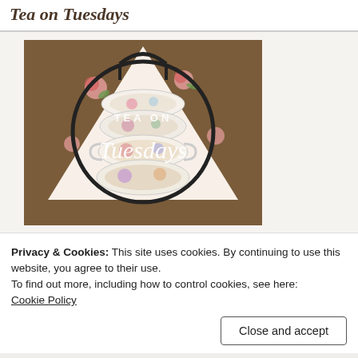Tea on Tuesdays
[Figure (photo): A stack of floral-patterned teacups and saucers in a black wire rack, with a white floral fabric backdrop. Text overlay reads 'TEA ON Tuesdays' in white script and serif lettering.]
Privacy & Cookies: This site uses cookies. By continuing to use this website, you agree to their use.
To find out more, including how to control cookies, see here: Cookie Policy
Close and accept